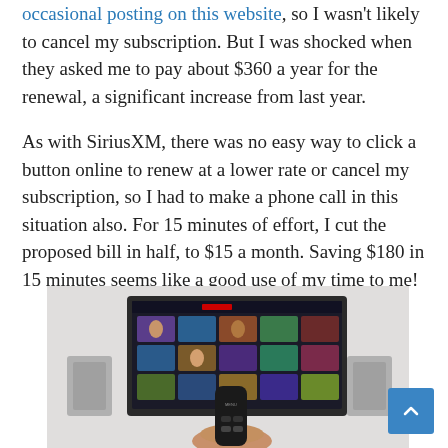occasional posting on this website, so I wasn't likely to cancel my subscription. But I was shocked when they asked me to pay about $360 a year for the renewal, a significant increase from last year.
As with SiriusXM, there was no easy way to click a button online to renew at a lower rate or cancel my subscription, so I had to make a phone call in this situation also. For 15 minutes of effort, I cut the proposed bill in half, to $15 a month. Saving $180 in 15 minutes seems like a good use of my time to me!
[Figure (photo): A hand holding a TV remote control pointed at a large flat-screen TV mounted on a wall, with a media streaming interface showing a grid of content thumbnails on the screen.]